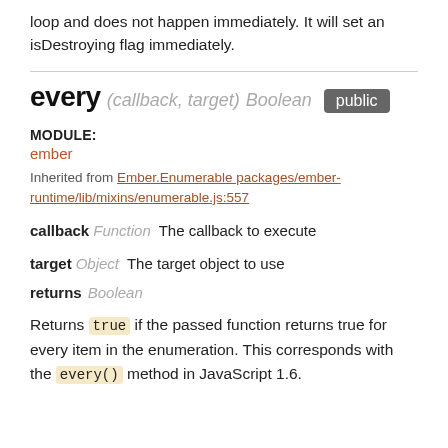loop and does not happen immediately. It will set an isDestroying flag immediately.
every (callback, target) Boolean public
MODULE:
ember
Inherited from Ember.Enumerable packages/ember-runtime/lib/mixins/enumerable.js:557
callback Function  The callback to execute
target Object  The target object to use
returns Boolean
Returns true if the passed function returns true for every item in the enumeration. This corresponds with the every() method in JavaScript 1.6.